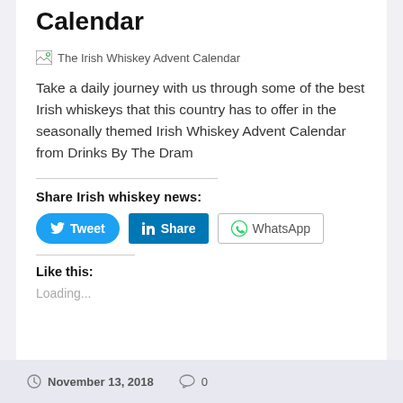Calendar
[Figure (photo): Broken image placeholder labeled 'The Irish Whiskey Advent Calendar']
Take a daily journey with us through some of the best Irish whiskeys that this country has to offer in the seasonally themed Irish Whiskey Advent Calendar from Drinks By The Dram
Share Irish whiskey news:
Like this:
Loading...
November 13, 2018   0